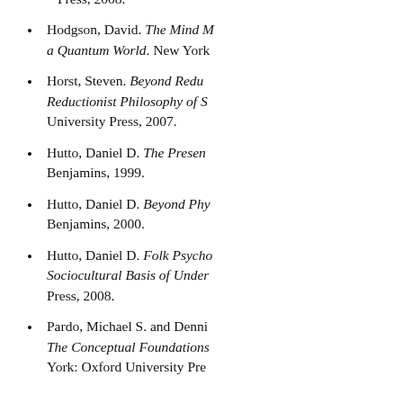Press, 2008.
Hodgson, David. The Mind M... a Quantum World. New York
Horst, Steven. Beyond Redu... Reductionist Philosophy of S... University Press, 2007.
Hutto, Daniel D. The Presen... Benjamins, 1999.
Hutto, Daniel D. Beyond Phy... Benjamins, 2000.
Hutto, Daniel D. Folk Psycho... Sociocultural Basis of Under... Press, 2008.
Pardo, Michael S. and Denni... The Conceptual Foundations... York: Oxford University Pre...